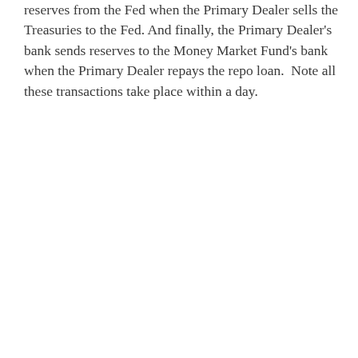reserves from the Fed when the Primary Dealer sells the Treasuries to the Fed. And finally, the Primary Dealer's bank sends reserves to the Money Market Fund's bank when the Primary Dealer repays the repo loan.  Note all these transactions take place within a day.